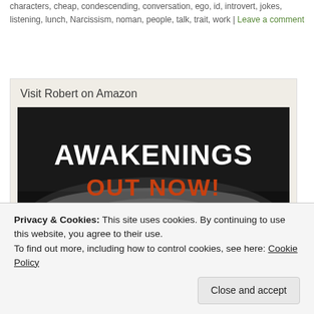characters, cheap, condescending, conversation, ego, id, introvert, jokes, listening, lunch, Narcissism, noman, people, talk, trait, work | Leave a comment
Visit Robert on Amazon
[Figure (photo): Book cover image showing 'AWAKENINGS OUT NOW!' text in white and orange/red over a dark moody background with a close-up of a colorful eye at the bottom.]
Privacy & Cookies: This site uses cookies. By continuing to use this website, you agree to their use.
To find out more, including how to control cookies, see here: Cookie Policy
Close and accept